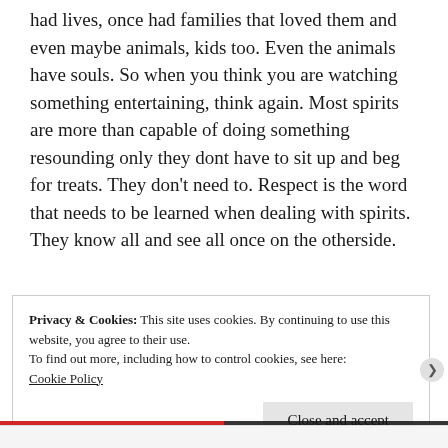had lives, once had families that loved them and even maybe animals, kids too. Even the animals have souls. So when you think you are watching something entertaining, think again. Most spirits are more than capable of doing something resounding only they dont have to sit up and beg for treats. They don't need to. Respect is the word that needs to be learned when dealing with spirits. They know all and see all once on the otherside.
Privacy & Cookies: This site uses cookies. By continuing to use this website, you agree to their use.
To find out more, including how to control cookies, see here: Cookie Policy
Close and accept